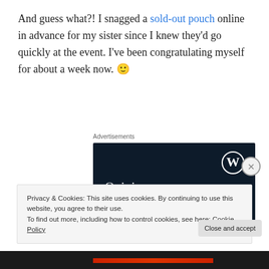And guess what?! I snagged a sold-out pouch online in advance for my sister since I knew they'd go quickly at the event. I've been congratulating myself for about a week now. 🙂
Advertisements
[Figure (other): WordPress advertisement banner with dark navy background, WordPress logo (W in circle) top right, text 'Opinions. We all have them!' in white serif font]
Privacy & Cookies: This site uses cookies. By continuing to use this website, you agree to their use.
To find out more, including how to control cookies, see here: Cookie Policy
Close and accept